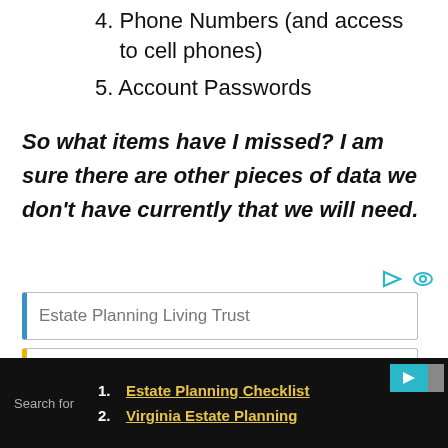4. Phone Numbers (and access to cell phones)
5. Account Passwords
So what items have I missed? I am sure there are other pieces of data we don't have currently that we will need.
Estate Planning Living Trust
Estate Planning Attorney Fees
1. Estate Planning Checklist
2. Virginia Estate Planning